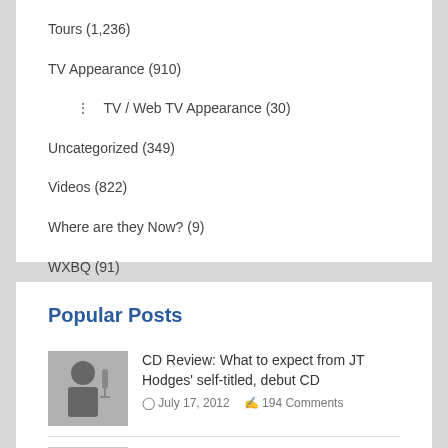Tours (1,236)
TV Appearance (910)
TV / Web TV Appearance (30)
Uncategorized (349)
Videos (822)
Where are they Now? (9)
WXBQ (91)
Popular Posts
CD Review: What to expect from JT Hodges' self-titled, debut CD
July 17, 2012   194 Comments
Randy Travis marking 25th Anniversary Celebration with concert tour across America
January 31, 2012